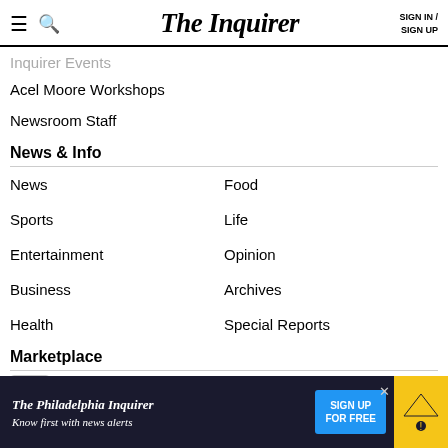The Inquirer — SIGN IN / SIGN UP
Inquirer Events (partial)
Acel Moore Workshops
Newsroom Staff
News & Info
News
Food
Sports
Life
Entertainment
Opinion
Business
Archives
Health
Special Reports
Marketplace
Subscribe (partial)
Death Notices
[Figure (screenshot): The Philadelphia Inquirer advertisement banner: 'Know first with news alerts' with a blue 'SIGN UP FOR FREE' button and a megaphone icon.]